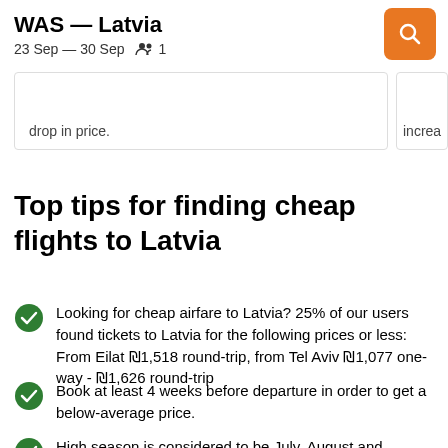WAS — Latvia
23 Sep — 30 Sep  1
drop in price.
increa
Top tips for finding cheap flights to Latvia
Looking for cheap airfare to Latvia? 25% of our users found tickets to Latvia for the following prices or less: From Eilat ₪1,518 round-trip, from Tel Aviv ₪1,077 one-way - ₪1,626 round-trip
Book at least 4 weeks before departure in order to get a below-average price.
High season is considered to be July, August and September.